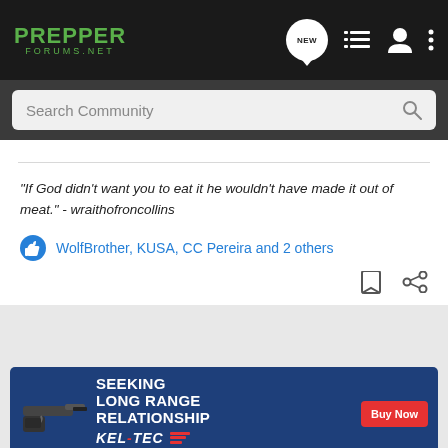PREPPER FORUMS.NET
Search Community
"If God didn't want you to eat it he wouldn't have made it out of meat." - wraithofroncollins
WolfBrother, KUSA, CC Pereira and 2 others
[Figure (screenshot): Advertisement banner for Kel-Tec CP33 pistol: 'SEEKING LONG RANGE RELATIONSHIP - Buy Now']